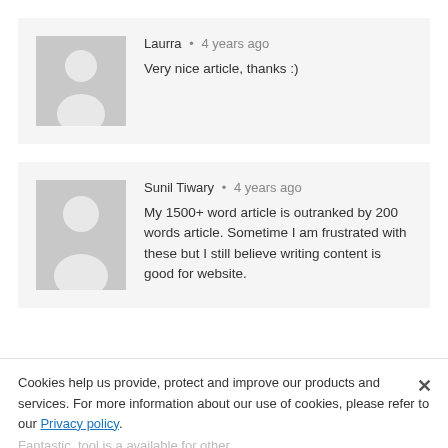[Figure (illustration): Grey placeholder avatar icon for Laurra (silhouette of person on grey background)]
Laurra • 4 years ago
Very nice article, thanks :)
[Figure (illustration): Grey placeholder avatar icon for Sunil Tiwary (silhouette of person on grey background)]
Sunil Tiwary • 4 years ago
My 1500+ word article is outranked by 200 words article. Sometime I am frustrated with these but I still believe writing content is good for website.
Cookies help us provide, protect and improve our products and services. For more information about our use of cookies, please refer to our Privacy policy.
Fantastic, tool is a available for other...